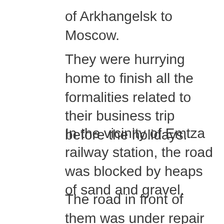of Arkhangelsk to Moscow.
They were hurrying home to finish all the formalities related to their business trip before the holidays.
In the vicinity of Emtza railway station, the road was blocked by heaps of sand and gravel.
The road in front of them was under repair and Oleg had to turn onto a dirt road to detour. On one bend in the road, the truck's headlights fell upon